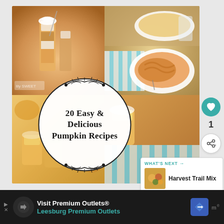[Figure (photo): Food collage showing pumpkin parfait desserts in glasses (top left), pumpkin pasta dish on white plate (top right), and more pumpkin desserts (bottom left), with overlaid text circle reading '20 Easy & Delicious Pumpkin Recipes']
20 Easy & Delicious Pumpkin Recipes
[Figure (infographic): What's Next banner showing Harvest Trail Mix with thumbnail image]
WHAT'S NEXT → Harvest Trail Mix
[Figure (infographic): Advertisement bar: Visit Premium Outlets® Leesburg Premium Outlets with directional sign badge]
Visit Premium Outlets® Leesburg Premium Outlets